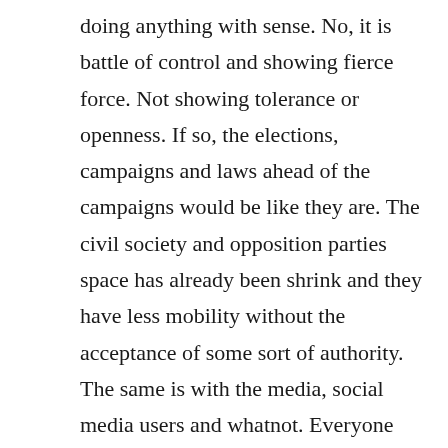doing anything with sense. No, it is battle of control and showing fierce force. Not showing tolerance or openness. If so, the elections, campaigns and laws ahead of the campaigns would be like they are. The civil society and opposition parties space has already been shrink and they have less mobility without the acceptance of some sort of authority. The same is with the media, social media users and whatnot. Everyone needs to follow the President and whatever inklings he has. And never ever ever think to insult his character or his achievements. Because, Magufuli is the greatest man since Christ.
That is the sadness of it all. That the biggest competitor and supposed challenger needed to flee to exile to be safe and sound. That Tundu Lissu is in a flat in Belgium. Says more about Tanzania, than it says about him.